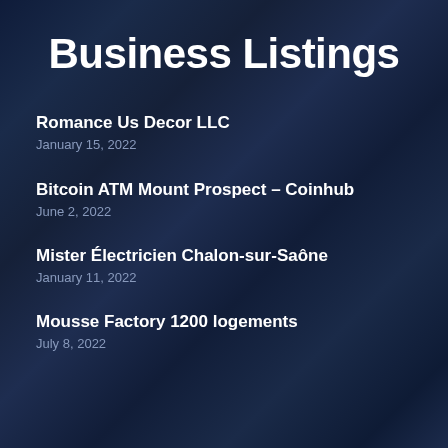Business Listings
Romance Us Decor LLC
January 15, 2022
Bitcoin ATM Mount Prospect – Coinhub
June 2, 2022
Mister Électricien Chalon-sur-Saône
January 11, 2022
Mousse Factory 1200 logements
July 8, 2022